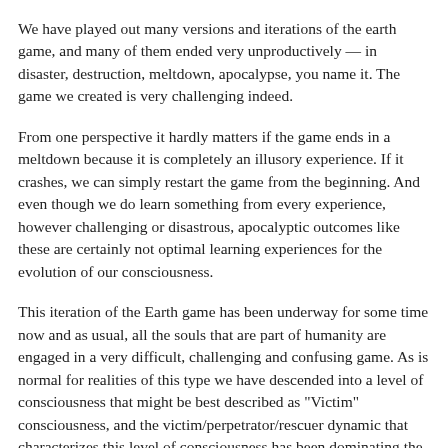We have played out many versions and iterations of the earth game, and many of them ended very unproductively — in disaster, destruction, meltdown, apocalypse, you name it.  The game we created is very challenging indeed.
From one perspective it hardly matters if the game ends in a meltdown because it is completely an illusory experience.  If it crashes, we can simply restart the game from the beginning.  And even though we do learn something from every experience, however challenging or disastrous, apocalyptic outcomes like these are certainly not optimal learning experiences for the evolution of our consciousness.
This iteration of the Earth game has been underway for some time now and as usual, all the souls that are part of humanity are engaged in a very difficult, challenging and confusing game.  As is normal for realities of this type we have descended into a level of consciousness that might be best described as "Victim" consciousness, and the victim/perpetrator/rescuer dynamic that characterizes this level of consciousness has been dominating the human drama for quite some time.